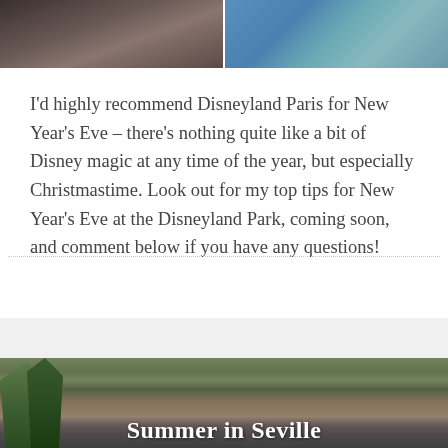[Figure (photo): Two photos side by side at top: left photo shows a dark/shadowy scene, right photo shows a blue/outdoor scene]
I'd highly recommend Disneyland Paris for New Year's Eve – there's nothing quite like a bit of Disney magic at any time of the year, but especially Christmastime. Look out for my top tips for New Year's Eve at the Disneyland Park, coming soon, and comment below if you have any questions!
[Figure (photo): Bottom image showing a cityscape with trees in foreground and cathedral/historic buildings in background with 'Summer in Seville' text overlay]